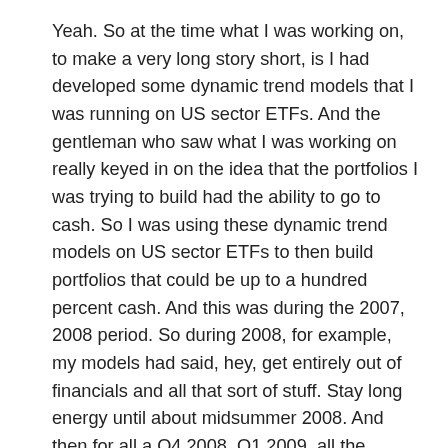Yeah. So at the time what I was working on, to make a very long story short, is I had developed some dynamic trend models that I was running on US sector ETFs. And the gentleman who saw what I was working on really keyed in on the idea that the portfolios I was trying to build had the ability to go to cash. So I was using these dynamic trend models on US sector ETFs to then build portfolios that could be up to a hundred percent cash. And this was during the 2007, 2008 period. So during 2008, for example, my models had said, hey, get entirely out of financials and all that sort of stuff. Stay long energy until about midsummer 2008. And then for all a Q4 2008, Q1 2009, all the signals were in cash. And that was a very unique proposition at that time, sort of an equity strategy that could go a hundred percent to cash.